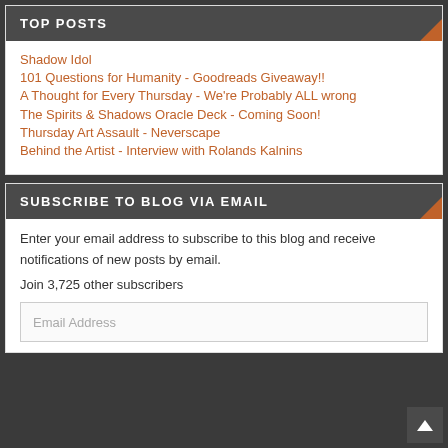TOP POSTS
Shadow Idol
101 Questions for Humanity - Goodreads Giveaway!!
A Thought for Every Thursday - We're Probably ALL wrong
The Spirits & Shadows Oracle Deck - Coming Soon!
Thursday Art Assault - Neverscape
Behind the Artist - Interview with Rolands Kalnins
SUBSCRIBE TO BLOG VIA EMAIL
Enter your email address to subscribe to this blog and receive notifications of new posts by email.
Join 3,725 other subscribers
Email Address